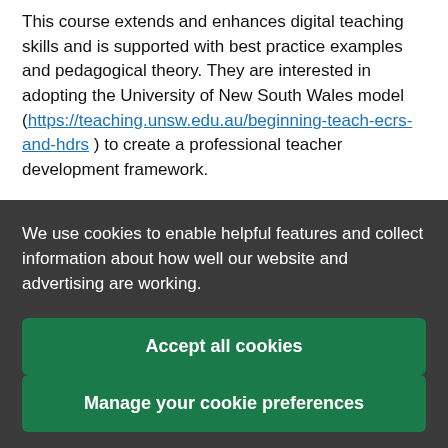This course extends and enhances digital teaching skills and is supported with best practice examples and pedagogical theory. They are interested in adopting the University of New South Wales model (https://teaching.unsw.edu.au/beginning-teach-ecrs-and-hdrs ) to create a professional teacher development framework.
We use cookies to enable helpful features and collect information about how well our website and advertising are working.
Accept all cookies
Manage your cookie preferences